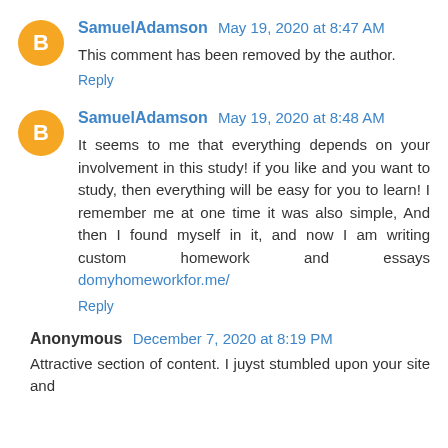SamuelAdamson May 19, 2020 at 8:47 AM
This comment has been removed by the author.
Reply
SamuelAdamson May 19, 2020 at 8:48 AM
It seems to me that everything depends on your involvement in this study! if you like and you want to study, then everything will be easy for you to learn! I remember me at one time it was also simple, And then I found myself in it, and now I am writing custom homework and essays domyhomeworkfor.me/
Reply
Anonymous December 7, 2020 at 8:19 PM
Attractive section of content. I juyst stumbled upon your site and